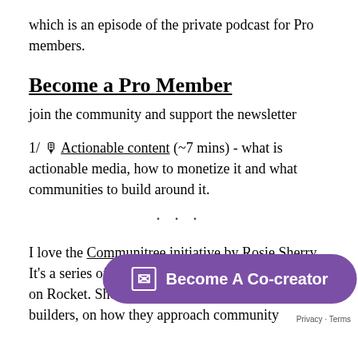which is an episode of the private podcast for Pro members.
Become a Pro Member
join the community and support the newsletter
1/ 🎙 Actionable content (~7 mins) - what is actionable media, how to monetize it and what communities to build around it.
· · ·
I love the Communitree initiative by Rosie Sherry. It's a series of audio-c on Rocket. Short concis builders, on how they approach community